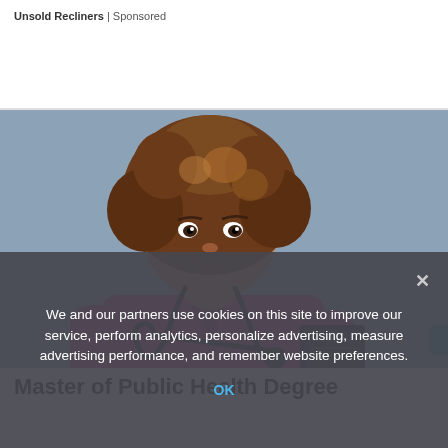Unsold Recliners | Sponsored
[Figure (photo): A young woman wearing magenta/pink scrubs with a stethoscope around her neck, holding a notebook, standing in front of a grey-blue wall. She has curly brown hair. Represents a healthcare professional.]
Master of Public Health Degree
We and our partners use cookies on this site to improve our service, perform analytics, personalize advertising, measure advertising performance, and remember website preferences.
OK